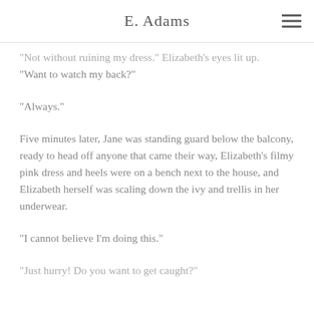E. Adams
“Not without ruining my dress.” Elizabeth’s eyes lit up. “Want to watch my back?”
“Always.”
Five minutes later, Jane was standing guard below the balcony, ready to head off anyone that came their way, Elizabeth’s filmy pink dress and heels were on a bench next to the house, and Elizabeth herself was scaling down the ivy and trellis in her underwear.
“I cannot believe I’m doing this.”
“Just hurry! Do you want to get caught?”